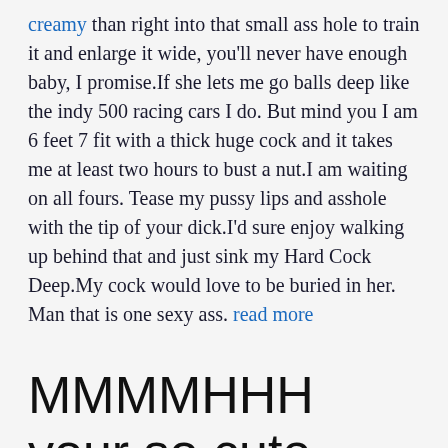creamy than right into that small ass hole to train it and enlarge it wide, you'll never have enough baby, I promise.If she lets me go balls deep like the indy 500 racing cars I do. But mind you I am 6 feet 7 fit with a thick huge cock and it takes me at least two hours to bust a nut.I am waiting on all fours. Tease my pussy lips and asshole with the tip of your dick.I'd sure enjoy walking up behind that and just sink my Hard Cock Deep.My cock would love to be buried in her. Man that is one sexy ass. read more
MMMMHHH your so cute love seeeing you in your sexy silky